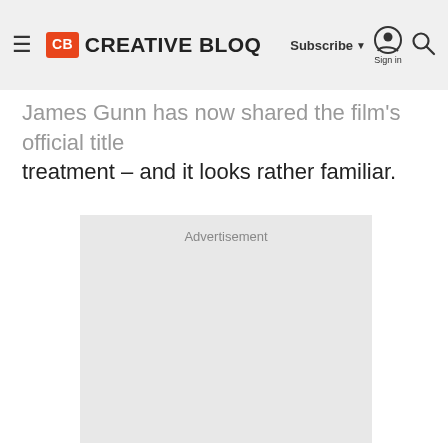CB CREATIVE BLOQ | Subscribe | Sign in
James Gunn has now shared the film's official title treatment – and it looks rather familiar.
[Figure (other): Advertisement placeholder box with light gray background and 'Advertisement' label at top center]